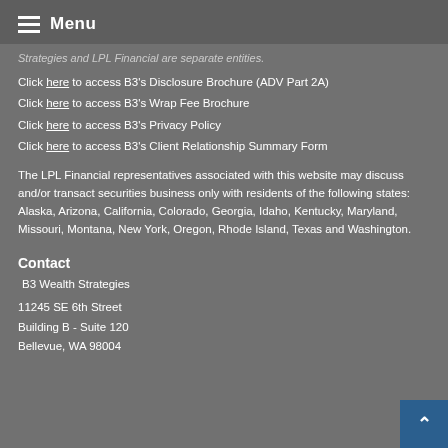Menu
Strategies and LPL Financial are separate entities.
Click here to access B3's Disclosure Brochure (ADV Part 2A)
Click here to access B3's Wrap Fee Brochure
Click here to access B3's Privacy Policy
Click here to access B3's Client Relationship Summary Form
The LPL Financial representatives associated with this website may discuss and/or transact securities business only with residents of the following states: Alaska, Arizona, California, Colorado, Georgia, Idaho, Kentucky, Maryland, Missouri, Montana, New York, Oregon, Rhode Island, Texas and Washington.
Contact
B3 Wealth Strategies
11245 SE 6th Street
Building B - Suite 120
Bellevue, WA 98004